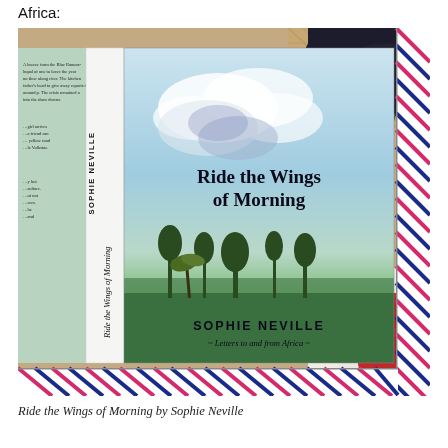Africa:
[Figure (photo): A photograph of the book 'Ride the Wings of Morning' by Sophie Neville, showing the book cover and spine. The cover features a watercolour painting of an African landscape with clouds, trees, and a green field. The book is displayed on what appears to be a wicker/rattan surface alongside a dark hat, red glasses, and greenery. An airmail-style border with red/pink and blue/navy diagonal stripes frames the image. The spine reads 'Ride the Wings of Morning' and 'SOPHIE NEVILLE'. The subtitle on the cover reads '~ Letters to and from Africa ~'.]
Ride the Wings of Morning by Sophie Neville